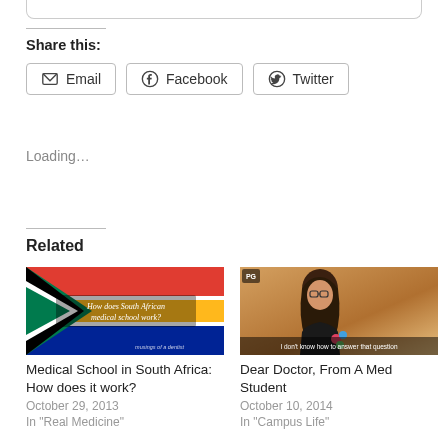Share this:
Email  Facebook  Twitter
Loading…
Related
[Figure (photo): South African flag with text overlay: 'How does South African medical school work?']
Medical School in South Africa: How does it work?
October 29, 2013
In "Real Medicine"
[Figure (photo): Woman with glasses and dark hair with subtitle: 'I don't know how to answer that question']
Dear Doctor, From A Med Student
October 10, 2014
In "Campus Life"